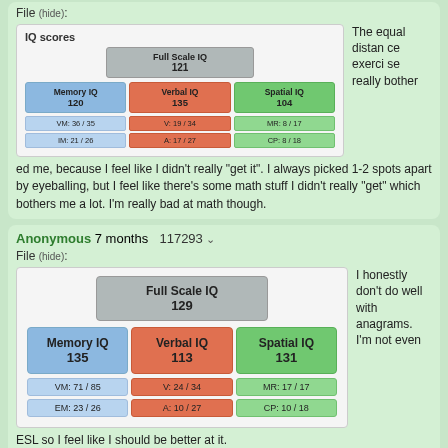File (hide):
[Figure (infographic): IQ scores chart showing Full Scale IQ 121, Memory IQ 120, Verbal IQ 135, Spatial IQ 104, with subtests VM:36/35, IM:21/26, V:19/34, A:17/27, MR:8/17, CP:8/18]
The equal distance exercise really bothered me, because I feel like I didn't really "get it". I always picked 1-2 spots apart by eyeballing, but I feel like there's some math stuff I didn't really "get" which bothers me a lot. I'm really bad at math though.
Anonymous 7 months 117293
File (hide):
[Figure (infographic): IQ scores chart showing Full Scale IQ 129, Memory IQ 135, Verbal IQ 113, Spatial IQ 131, with subtests VM:71/85, EM:23/26, V:24/34, A:10/27, MR:17/17, CP:10/18]
I honestly don't do well with anagrams. I'm not even
ESL so I feel like I should be better at it.
Anonymous 7 months 117293